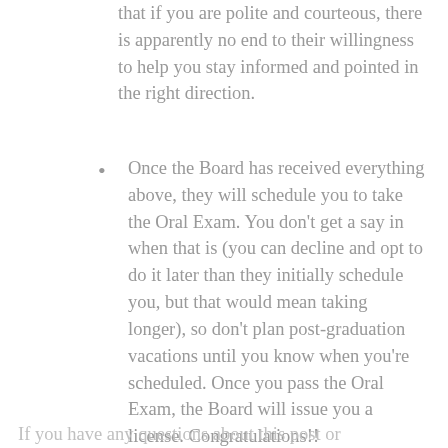that if you are polite and courteous, there is apparently no end to their willingness to help you stay informed and pointed in the right direction.
Once the Board has received everything above, they will schedule you to take the Oral Exam. You don't get a say in when that is (you can decline and opt to do it later than they initially schedule you, but that would mean taking longer), so don't plan post-graduation vacations until you know when you're scheduled. Once you pass the Oral Exam, the Board will issue you a license. Congratulations!!
If you have any questions about this post or...